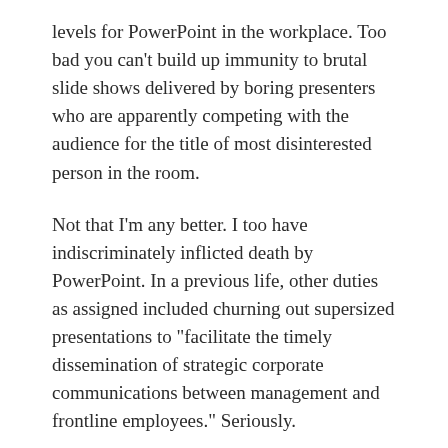levels for PowerPoint in the workplace. Too bad you can't build up immunity to brutal slide shows delivered by boring presenters who are apparently competing with the audience for the title of most disinterested person in the room.
Not that I'm any better. I too have indiscriminately inflicted death by PowerPoint. In a previous life, other duties as assigned included churning out supersized presentations to "facilitate the timely dissemination of strategic corporate communications between management and frontline employees." Seriously.
One can only imagine what was muttered behind closed doors by the ever-diminishing number of managers who opened my e-mail attachments and tried to make sense of slides with a four-chart mash-